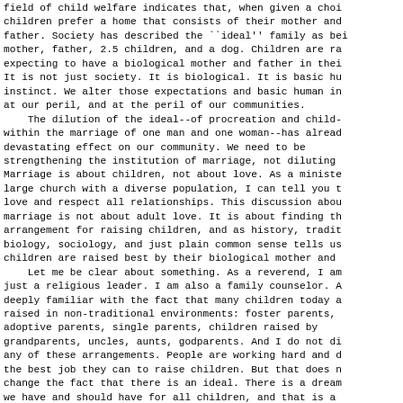field of child welfare indicates that, when given a choi children prefer a home that consists of their mother and father. Society has described the ``ideal'' family as bei mother, father, 2.5 children, and a dog. Children are ra expecting to have a biological mother and father in thei It is not just society. It is biological. It is basic hu instinct. We alter those expectations and basic human in at our peril, and at the peril of our communities.
    The dilution of the ideal--of procreation and child- within the marriage of one man and one woman--has alread devastating effect on our community. We need to be strengthening the institution of marriage, not diluting Marriage is about children, not about love. As a ministe large church with a diverse population, I can tell you t love and respect all relationships. This discussion abou marriage is not about adult love. It is about finding th arrangement for raising children, and as history, tradit biology, sociology, and just plain common sense tells us children are raised best by their biological mother and f
    Let me be clear about something. As a reverend, I am just a religious leader. I am also a family counselor. A deeply familiar with the fact that many children today a raised in non-traditional environments: foster parents, adoptive parents, single parents, children raised by grandparents, uncles, aunts, godparents. And I do not di any of these arrangements. People are working hard and d the best job they can to raise children. But that does n change the fact that there is an ideal. There is a dream we have and should have for all children, and that is a a dad for every child, regardless whether they be black white.